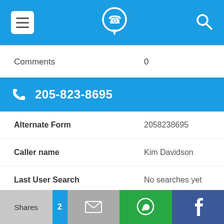Navigation bar with menu, phone app logo, and search icon
Comments   0
205-823-8695
Alternate Form   2058238695
Caller name   Kim Davidson
Last User Search   No searches yet
Comments   0
Shares | 2 | [email] | [WhatsApp] | [Facebook]